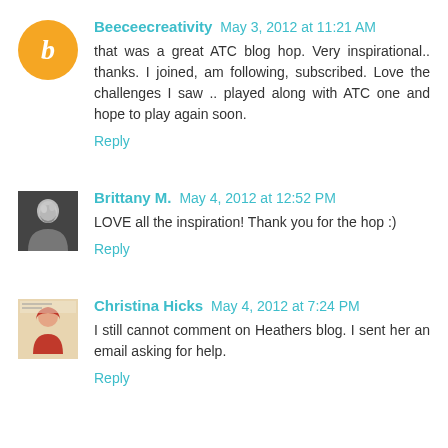Beeceecreativity May 3, 2012 at 11:21 AM
that was a great ATC blog hop. Very inspirational.. thanks. I joined, am following, subscribed. Love the challenges I saw .. played along with ATC one and hope to play again soon.
Reply
Brittany M. May 4, 2012 at 12:52 PM
LOVE all the inspiration! Thank you for the hop :)
Reply
Christina Hicks May 4, 2012 at 7:24 PM
I still cannot comment on Heathers blog. I sent her an email asking for help.
Reply